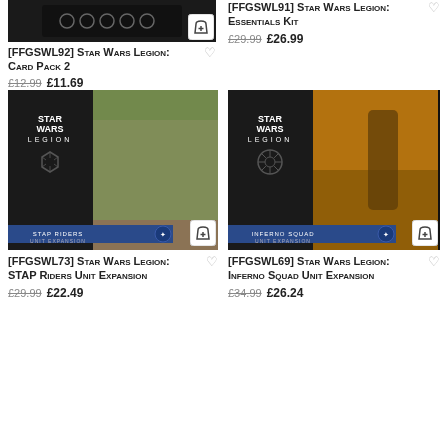[Figure (photo): Top-left partial product image: Star Wars Legion Card Pack 2 box (dark/black box, partially cropped at top)]
[Figure (photo): Top-right partial product listing: Star Wars Legion Essentials Kit]
[FFGSWL92] Star Wars Legion: Card Pack 2
£12.99 £11.69
[FFGSWL91] Star Wars Legion: Essentials Kit
£29.99 £26.99
[Figure (photo): Star Wars Legion: STAP Riders Unit Expansion product box — black box with Star Wars Legion logo and STAP vehicle image]
[Figure (photo): Star Wars Legion: Inferno Squad Unit Expansion product box — black and gold box with Star Wars Legion logo and Wookiee/squad image]
[FFGSWL73] Star Wars Legion: STAP Riders Unit Expansion
£29.99 £22.49
[FFGSWL69] Star Wars Legion: Inferno Squad Unit Expansion
£34.99 £26.24